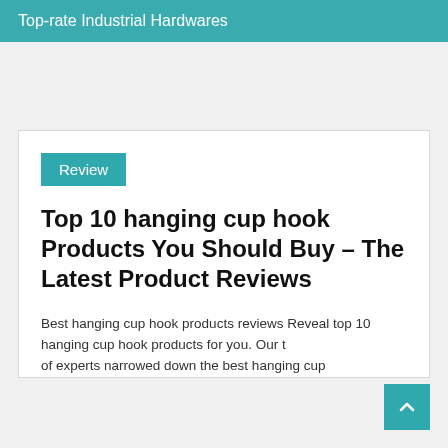Top-rate Industrial Hardwares
Review
Top 10 hanging cup hook Products You Should Buy – The Latest Product Reviews
Best hanging cup hook products reviews Reveal top 10 hanging cup hook products for you. Our team of experts narrowed down the best hanging cup